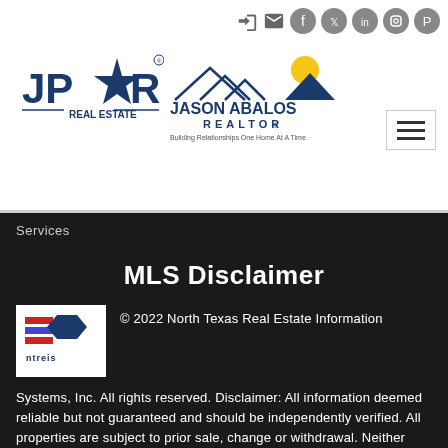[Figure (logo): JPAR Real Estate logo with star and text]
[Figure (logo): Jason Abalos Realtor logo with house roofline]
Services
MLS Disclaimer
[Figure (logo): NTREIS logo - North Texas Real Estate Information Systems]
© 2022 North Texas Real Estate Information Systems, Inc. All rights reserved. Disclaimer: All information deemed reliable but not guaranteed and should be independently verified. All properties are subject to prior sale, change or withdrawal. Neither listing broker(s) nor JPAR® - Dallas/Fort Worth shall be responsible for any typographical errors, misinformation, misprints and shall be held totally harmless. The database information herein is